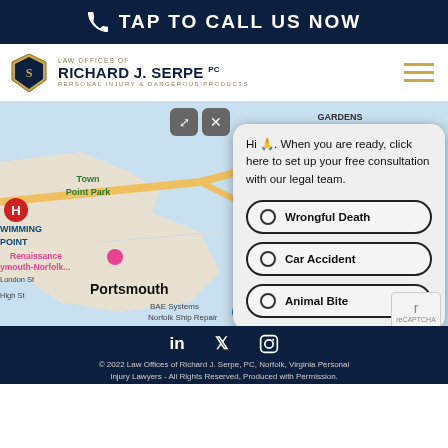TAP TO CALL US NOW
[Figure (screenshot): Law Offices of Richard J. Serpe PC logo with shield emblem and tagline 'Personal Injury & Dangerous Products']
[Figure (map): Google Maps showing Norfolk/Portsmouth Virginia area including Town Point Park, Renaissance Portsmouth-Norfolk, BAE Systems Norfolk Ship Repair, with chat popup overlay showing options: Wrongful Death, Car Accident, Animal Bite]
Hi 👋. When you are ready, click here to set up your free consultation with our legal team.
Wrongful Death
Car Accident
Animal Bite
© 2022 Law Offices of Richard J. Serpe, PC, Norfolk, Virginia Personal Injury Lawyers - All Rights Reserved, Produced with Permission. East Main St. #310 Norfolk, VA 23510. Design by Ciniva